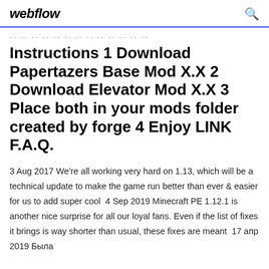webflow
-- -- -- -- -- -- -- -- -- -- -- -- --
Instructions 1 Download Papertazers Base Mod X.X 2 Download Elevator Mod X.X 3 Place both in your mods folder created by forge 4 Enjoy LINK F.A.Q.
3 Aug 2017 We're all working very hard on 1.13, which will be a technical update to make the game run better than ever & easier for us to add super cool  4 Sep 2019 Minecraft PE 1.12.1 is another nice surprise for all our loyal fans. Even if the list of fixes it brings is way shorter than usual, these fixes are meant  17 апр 2019 Была